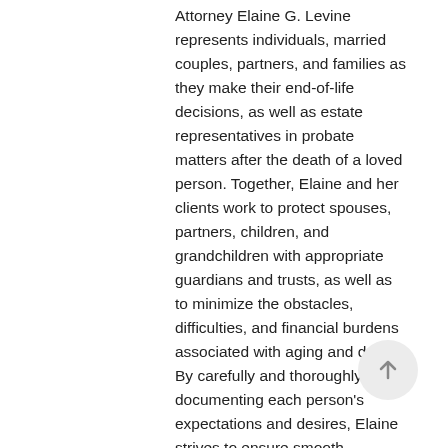Attorney Elaine G. Levine represents individuals, married couples, partners, and families as they make their end-of-life decisions, as well as estate representatives in probate matters after the death of a loved person. Together, Elaine and her clients work to protect spouses, partners, children, and grandchildren with appropriate guardians and trusts, as well as to minimize the obstacles, difficulties, and financial burdens associated with aging and death. By carefully and thoroughly documenting each person's expectations and desires, Elaine strives to ensure smooth transitions in times of accidents, stress, decline, and death.
Elaine Levine practices in the area of Wills, Trusts, Estate Planning, and Probate. She has worked with approximately 800 families as they make their end-of-life personal decisions and plan for their families' futures. Elaine also